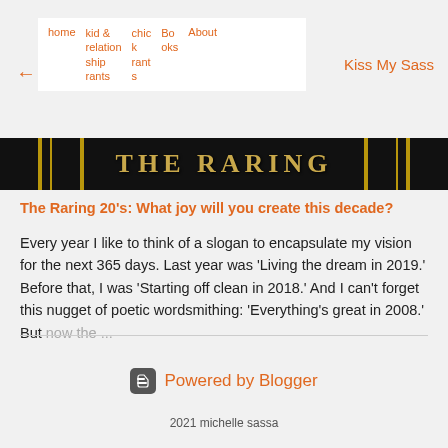home | kid & relationship rants | chic k rants | Books | About | Kiss My Sass
[Figure (screenshot): Blog banner for 'The Raring' with gold text on black background with gold vertical bars]
The Raring 20's: What joy will you create this decade?
Every year I like to think of a slogan to encapsulate my vision for the next 365 days. Last year was 'Living the dream in 2019.' Before that, I was 'Starting off clean in 2018.' And I can't forget this nugget of poetic wordsmithing: 'Everything's great in 2008.' But now the...
Powered by Blogger
2021 michelle sassa